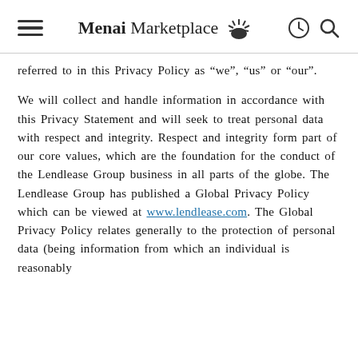Menai Marketplace
referred to in this Privacy Policy as “we”, “us” or “our”.
We will collect and handle information in accordance with this Privacy Statement and will seek to treat personal data with respect and integrity. Respect and integrity form part of our core values, which are the foundation for the conduct of the Lendlease Group business in all parts of the globe. The Lendlease Group has published a Global Privacy Policy which can be viewed at www.lendlease.com. The Global Privacy Policy relates generally to the protection of personal data (being information from which an individual is reasonably